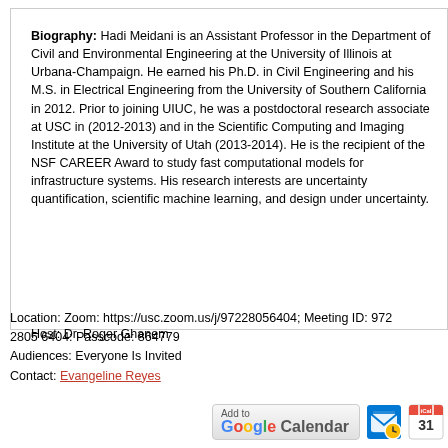Biography: Hadi Meidani is an Assistant Professor in the Department of Civil and Environmental Engineering at the University of Illinois at Urbana-Champaign. He earned his Ph.D. in Civil Engineering and his M.S. in Electrical Engineering from the University of Southern California in 2012. Prior to joining UIUC, he was a postdoctoral research associate at USC in (2012-2013) and in the Scientific Computing and Imaging Institute at the University of Utah (2013-2014). He is the recipient of the NSF CAREER Award to study fast computational models for infrastructure systems. His research interests are uncertainty quantification, scientific machine learning, and design under uncertainty.
Host: Dr. Roger Ghanem
Location: Zoom: https://usc.zoom.us/j/97228056404; Meeting ID: 972 2805 6404: Passcode: 864779
Audiences: Everyone Is Invited
Contact: Evangeline Reyes
[Figure (other): Add to Google Calendar button, Outlook calendar icon, and iCal icon]